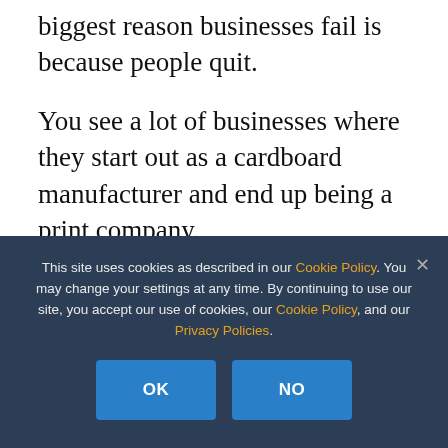biggest reason businesses fail is because people quit.
You see a lot of businesses where they start out as a cardboard manufacturer and end up being a print company.
If failure’s not an option, sometimes you have to make a left turn, sometimes you have to make a right turn, but you just keep
This site uses cookies as described in our Cookie Policy. You may change your settings at any time. By continuing to use our site, you accept our use of cookies, our Cookie Policy, and our Privacy Policies.